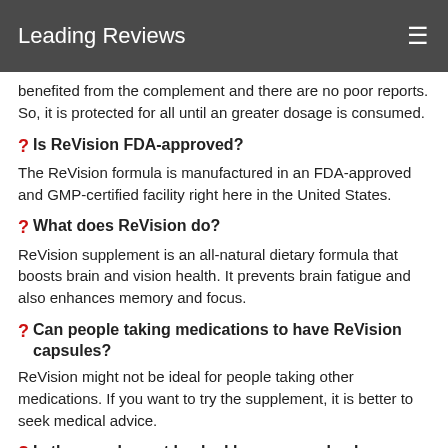Leading Reviews
benefited from the complement and there are no poor reports. So, it is protected for all until an greater dosage is consumed.
❓ Is ReVision FDA-approved?
The ReVision formula is manufactured in an FDA-approved and GMP-certified facility right here in the United States.
❓ What does ReVision do?
ReVision supplement is an all-natural dietary formula that boosts brain and vision health. It prevents brain fatigue and also enhances memory and focus.
❓ Can people taking medications to have ReVision capsules?
ReVision might not be ideal for people taking other medications. If you want to try the supplement, it is better to seek medical advice.
❓ Is the supplement backed by a money-back guarantee?
ReVision method is backed through a 60-day money-back